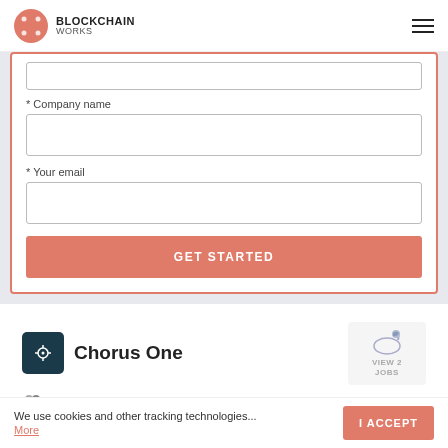BLOCKCHAIN WORKS
* Company name
* Your email
GET STARTED
Chorus One
10-49
VIEW 2 JOBS
About Chorus One Chorus One is a community of
We use cookies and other tracking technologies... More
I ACCEPT